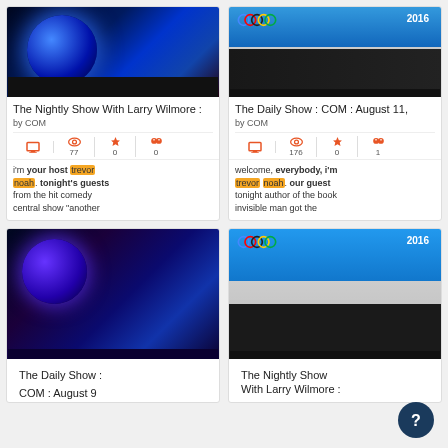[Figure (screenshot): TV show card: The Nightly Show With Larry Wilmore, dark studio with blue globe, by COM, 77 views, 0 stars, 0 quotes. Text: i'm your host trevor noah. tonight's guests from the hit comedy central show 'another']
[Figure (screenshot): TV show card: The Daily Show : COM : August 11, by COM, 176 views, 0 stars, 1 quote. Text: welcome, everybody, i'm trevor noah. our guest tonight author of the book invisible man got the]
[Figure (screenshot): TV show card bottom row: The Daily Show : COM : August 9, image of blue/purple studio]
[Figure (screenshot): TV show card bottom row: The Nightly Show With Larry Wilmore, two men at desk with 2016 Olympics background]